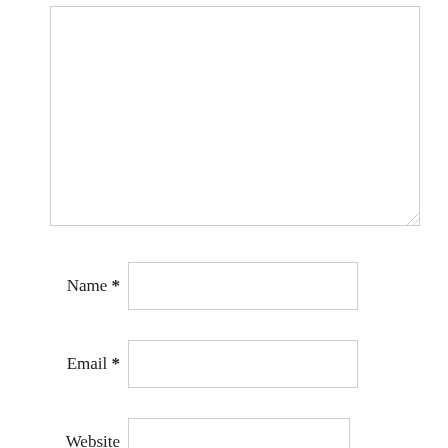[Figure (other): Large empty textarea input box with resize handle in bottom-right corner]
Name *
[Figure (other): Text input field for Name]
Email *
[Figure (other): Text input field for Email]
Website
[Figure (other): Text input field for Website]